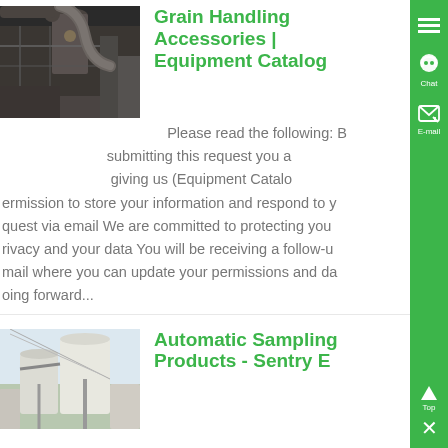[Figure (photo): Industrial grain handling facility with large pipes and machinery, dark interior]
Grain Handling Accessories | Equipment Catalog
Please read the following: By submitting this request you are giving us (Equipment Catalog) permission to store your information and respond to your request via email We are committed to protecting your privacy and your data You will be receiving a follow-up email where you can update your permissions and data going forward...
[Figure (photo): Outdoor grain storage silos with pipes and cables]
Automatic Sampling Products - Sentry E